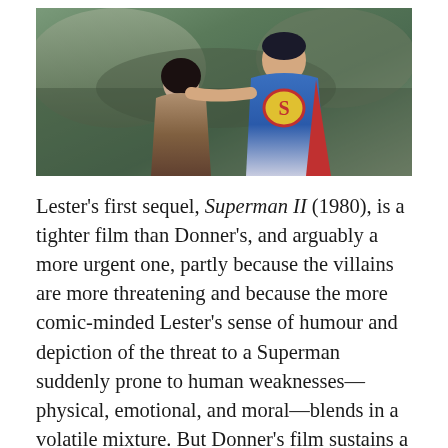[Figure (photo): A still from Superman II showing a man in a Superman costume holding a woman who is leaning back, set against a rocky outdoor background.]
Lester's first sequel, Superman II (1980), is a tighter film than Donner's, and arguably a more urgent one, partly because the villains are more threatening and because the more comic-minded Lester's sense of humour and depiction of the threat to a Superman suddenly prone to human weaknesses—physical, emotional, and moral—blends in a volatile mixture. But Donner's film sustains a far greater scope and a deeper